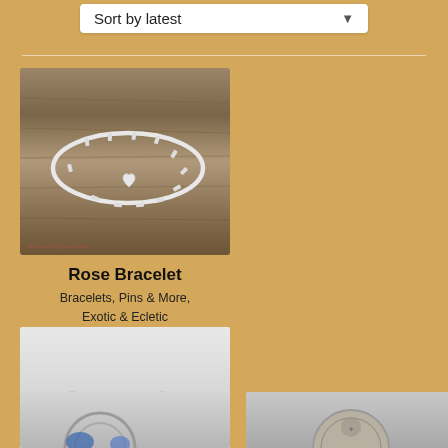Sort by latest
[Figure (photo): Rose Bracelet - silver twig/thorn style bangle with heart charm on a wooden background]
Rose Bracelet
Bracelets, Pins & More, Exotic & Ecletic
[Figure (photo): Wave Bracelet - silver wavy band with green and white gemstones on a light grey background]
Wave Bracelet
Bracelets, Pins & More, Exotic & Ecletic
[Figure (photo): Partially visible jewelry item, bottom of page, left]
[Figure (photo): Partially visible jewelry item, bottom of page, right, circular coin-like piece]